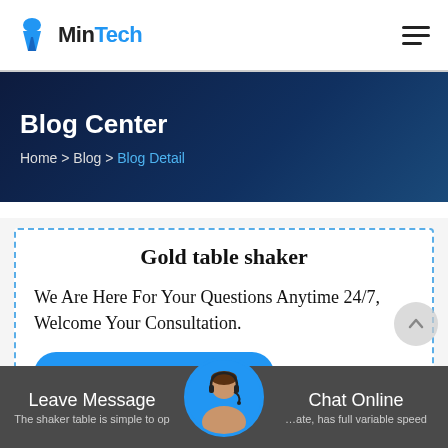MinTech
Blog Center
Home > Blog > Blog Detail
Gold table shaker
We Are Here For Your Questions Anytime 24/7, Welcome Your Consultation.
Get Price
Leave Message | Chat Online | The shaker table is simple to operate, has full variable speed